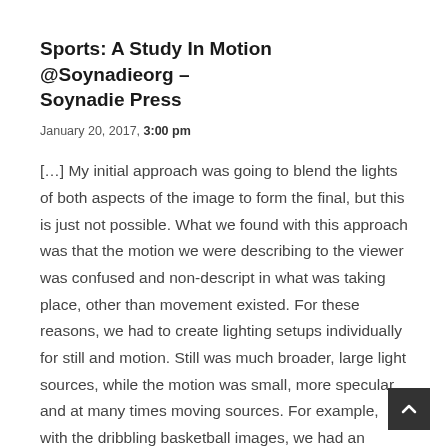Sports: A Study In Motion @Soynadieorg – Soynadie Press
January 20, 2017, 3:00 pm
[…] My initial approach was going to blend the lights of both aspects of the image to form the final, but this is just not possible. What we found with this approach was that the motion we were describing to the viewer was confused and non-descript in what was taking place, other than movement existed. For these reasons, we had to create lighting setups individually for still and motion. Still was much broader, large light sources, while the motion was small, more specular and at many times moving sources. For example, with the dribbling basketball images, we had an assistant running with the light alongside the player.  The next issue we faced was that of the exposure itself. Combining drastic